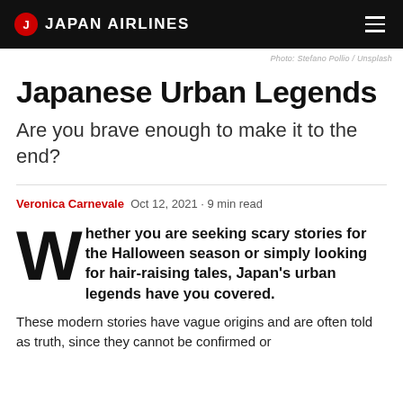JAPAN AIRLINES
Photo: Stefano Pollio / Unsplash
Japanese Urban Legends
Are you brave enough to make it to the end?
Veronica Carnevale  Oct 12, 2021 - 9 min read
Whether you are seeking scary stories for the Halloween season or simply looking for hair-raising tales, Japan's urban legends have you covered.
These modern stories have vague origins and are often told as truth, since they cannot be confirmed or